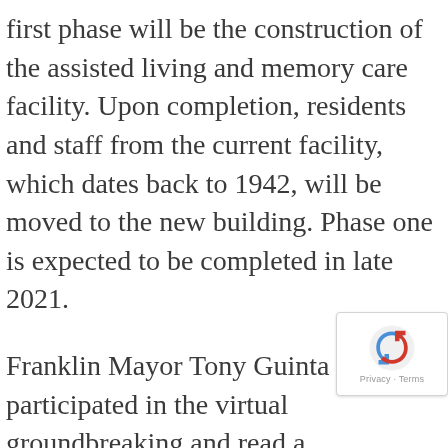first phase will be the construction of the assisted living and memory care facility. Upon completion, residents and staff from the current facility, which dates back to 1942, will be moved to the new building. Phase one is expected to be completed in late 2021.
Franklin Mayor Tony Guinta participated in the virtual groundbreaking and read a proclamation. “The Peabody Home is now poised to begin an incredible expansion that will not only compliment Franklin’s downtown rebirth, but most importantly will provide a special place for